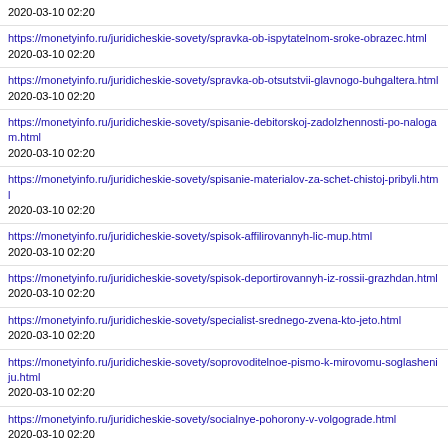2020-03-10 02:20
https://monetyinfo.ru/juridicheskie-sovety/spravka-ob-ispytatelnom-sroke-obrazec.html
2020-03-10 02:20
https://monetyinfo.ru/juridicheskie-sovety/spravka-ob-otsutstvii-glavnogo-buhgaltera.html
2020-03-10 02:20
https://monetyinfo.ru/juridicheskie-sovety/spisanie-debitorskoj-zadolzhennosti-po-nalogam.html
2020-03-10 02:20
https://monetyinfo.ru/juridicheskie-sovety/spisanie-materialov-za-schet-chistoj-pribyli.html
2020-03-10 02:20
https://monetyinfo.ru/juridicheskie-sovety/spisok-affilirovannyh-lic-mup.html
2020-03-10 02:20
https://monetyinfo.ru/juridicheskie-sovety/spisok-deportirovannyh-iz-rossii-grazhdan.html
2020-03-10 02:20
https://monetyinfo.ru/juridicheskie-sovety/specialist-srednego-zvena-kto-jeto.html
2020-03-10 02:20
https://monetyinfo.ru/juridicheskie-sovety/soprovoditelnoe-pismo-k-mirovomu-soglasheniju.html
2020-03-10 02:20
https://monetyinfo.ru/juridicheskie-sovety/socialnye-pohorony-v-volgograde.html
2020-03-10 02:20
https://monetyinfo.ru/juridicheskie-sovety/soglasie-roditelej-na-pokupku-rabochih-tetradej.html
2020-03-10 02:20
https://monetyinfo.ru/juridicheskie-sovety/soglasno-zajavke-ili-zajavki-kak-pravilno.html
2020-03-10 02:20